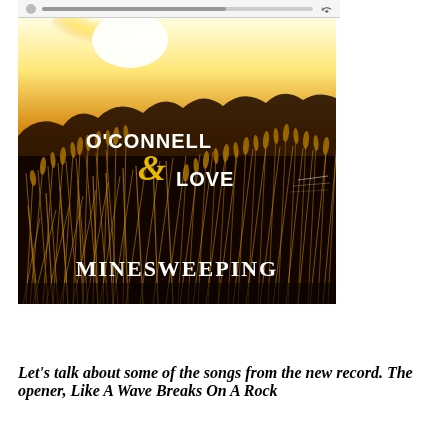[Figure (photo): Album cover for 'Minesweeping' by O'Connell & Love. Dark golden/sepia toned image of wild grass and wheat silhouetted against a bright golden sky. The band name 'O'CONNELL & LOVE' appears in white and gold text on the left side, and 'MINESWEEPING' appears in white serif text at the bottom center. Shown within a media player interface with a progress bar and share icon at the top.]
Let's talk about some of the songs from the new record. The opener, Like A Wave Breaks On A Rock